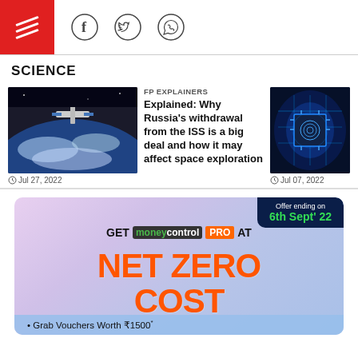Header with logo and social icons (Facebook, Twitter, WhatsApp)
SCIENCE
[Figure (photo): Space station orbiting Earth]
FP EXPLAINERS
Explained: Why Russia's withdrawal from the ISS is a big deal and how it may affect space exploration
Jul 27, 2022
[Figure (photo): Glowing blue microchip circuit board]
Jul 07, 2022
[Figure (infographic): Moneycontrol PRO advertisement banner - NET ZERO COST offer ending 6th Sept 2022. Grab Vouchers Worth ₹1500]